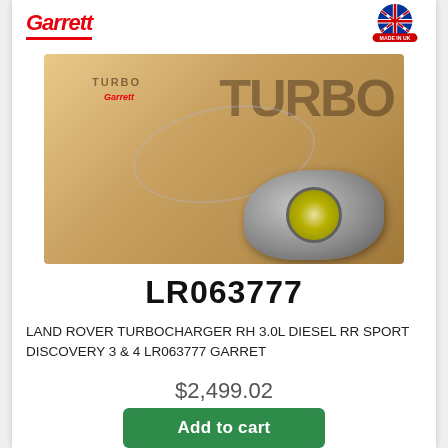[Figure (logo): Garrett brand logo in red italic bold text with red underline bar]
[Figure (logo): Made in UK badge with British flag imagery]
[Figure (photo): Product photo showing a Garrett Turbo cardboard box with a turbocharger part in front, watermark overlay visible]
LR063777
LAND ROVER TURBOCHARGER RH 3.0L DIESEL RR SPORT DISCOVERY 3 & 4 LR063777 GARRET
$2,499.02
Add to cart